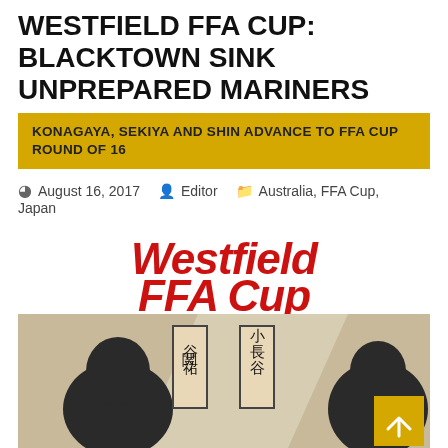WESTFIELD FFA CUP: BLACKTOWN SINK UNPREPARED MARINERS
KONAGAYA, SEKIYA AND SHIN ADVANCE TO FFA CUP ROUND OF 16
August 16, 2017   Editor   Australia, FFA Cup, Japan
[Figure (photo): Westfield FFA Cup logo/banner in red italic text over white background, with a sepia/tan lower section showing Japanese player cards with kanji characters (関谷祐 on left, 小長谷 on right) and partial head shots of two players, plus a scroll-to-top button (gold square with up arrow) in the bottom right corner.]